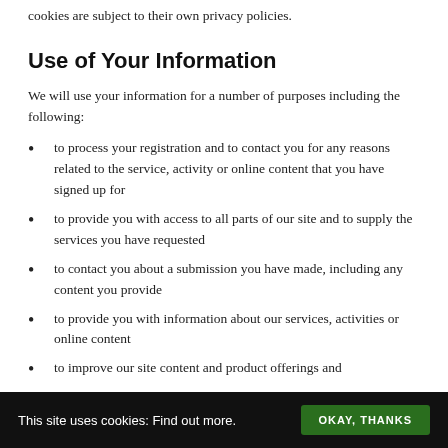cookies are subject to their own privacy policies.
Use of Your Information
We will use your information for a number of purposes including the following:
to process your registration and to contact you for any reasons related to the service, activity or online content that you have signed up for
to provide you with access to all parts of our site and to supply the services you have requested
to contact you about a submission you have made, including any content you provide
to provide you with information about our services, activities or online content
to improve our site content and product offerings and
This site uses cookies: Find out more. OKAY, THANKS